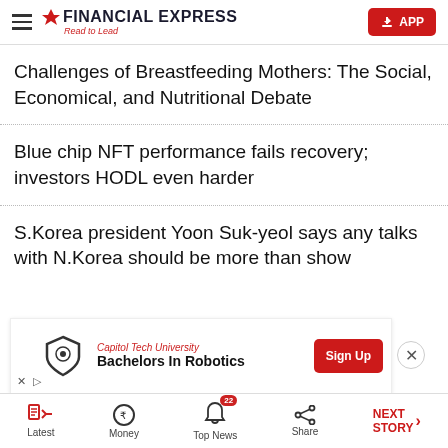FINANCIAL EXPRESS — Read to Lead | APP
Challenges of Breastfeeding Mothers: The Social, Economical, and Nutritional Debate
Blue chip NFT performance fails recovery; investors HODL even harder
S.Korea president Yoon Suk-yeol says any talks with N.Korea should be more than show
[Figure (infographic): Advertisement banner for Capitol Tech University - Bachelors In Robotics with Sign Up button]
Latest | Money | Top News (22) | Share | NEXT STORY